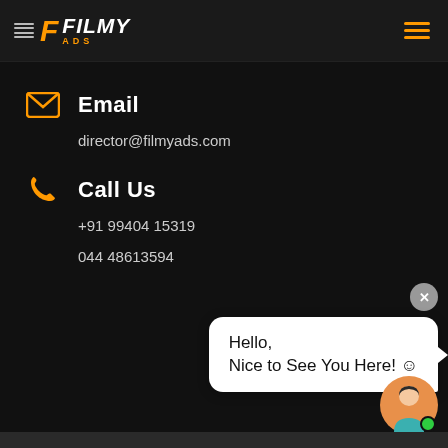[Figure (logo): Filmy ADS logo with orange F icon and filmstrip lines, white FILMY text in italic bold, orange ADS text below]
Email
director@filmyads.com
Call Us
+91 99404 15319
044 48613594
[Figure (screenshot): Chat widget popup with close button (x), white rounded speech bubble saying Hello, Nice to See You Here! with smiley, and avatar icon with green online dot]